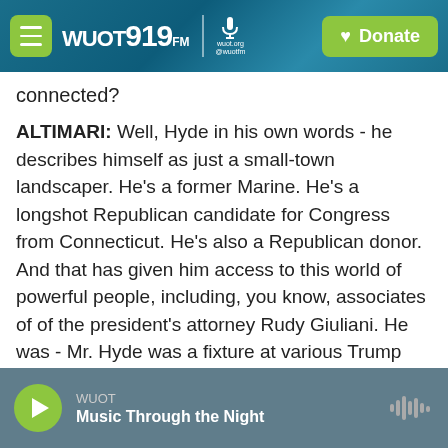WUOT 91.9 FM | wuot.org @wuotfm | Donate
connected?
ALTIMARI: Well, Hyde in his own words - he describes himself as just a small-town landscaper. He's a former Marine. He's a longshot Republican candidate for Congress from Connecticut. He's also a Republican donor. And that has given him access to this world of powerful people, including, you know, associates of of the president's attorney Rudy Giuliani. He was - Mr. Hyde was a fixture at various Trump properties. Apparently, according to Lev Parnas, he - Mr. Hyde hung out at the bar quite frequently. And he - that sort of gave him access
WUOT | Music Through the Night